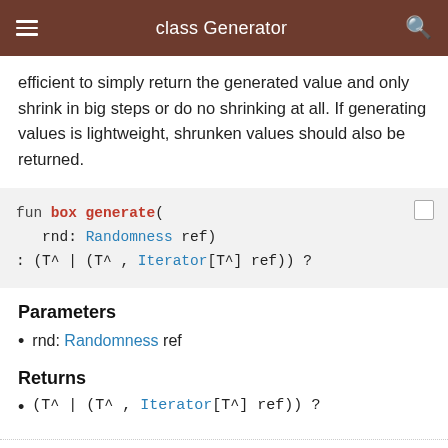class Generator
efficient to simply return the generated value and only shrink in big steps or do no shrinking at all. If generating values is lightweight, shrunken values should also be returned.
[Figure (screenshot): Code block showing function signature: fun box generate(rnd: Randomness ref) : (T^ | (T^ , Iterator[T^] ref)) ?]
Parameters
rnd: Randomness ref
Returns
(T^ | (T^ , Iterator[T^] ref)) ?